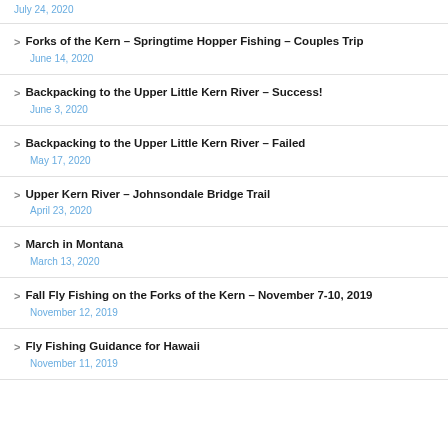July 24, 2020
Forks of the Kern – Springtime Hopper Fishing – Couples Trip
June 14, 2020
Backpacking to the Upper Little Kern River – Success!
June 3, 2020
Backpacking to the Upper Little Kern River – Failed
May 17, 2020
Upper Kern River – Johnsondale Bridge Trail
April 23, 2020
March in Montana
March 13, 2020
Fall Fly Fishing on the Forks of the Kern – November 7-10, 2019
November 12, 2019
Fly Fishing Guidance for Hawaii
November 11, 2019